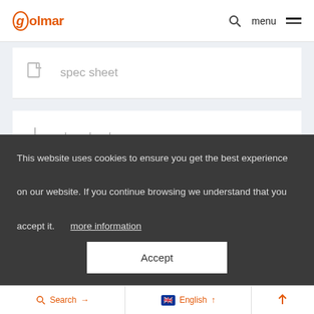golmar — menu
spec sheet
downloads
share on socials
This website uses cookies to ensure you get the best experience on our website. If you continue browsing we understand that you accept it. more information
Accept
Search  English